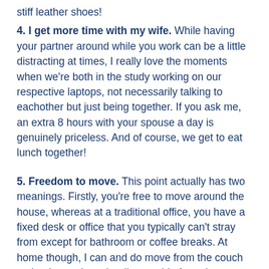stiff leather shoes!
4. I get more time with my wife. While having your partner around while you work can be a little distracting at times, I really love the moments when we're both in the study working on our respective laptops, not necessarily talking to eachother but just being together. If you ask me, an extra 8 hours with your spouse a day is genuinely priceless. And of course, we get to eat lunch together!
5. Freedom to move. This point actually has two meanings. Firstly, you're free to move around the house, whereas at a traditional office, you have a fixed desk or office that you typically can't stray from except for bathroom or coffee breaks. At home though, I can and do move from the couch to the the study to the dinner table from time to time. Hell, I could work in bed if I wanted to! Secondly though, WFH gives you more options when it comes to where you live. For most of us, where we rent or buy is largely determined by how easy it would be for us to commute to our jobs. If you're working